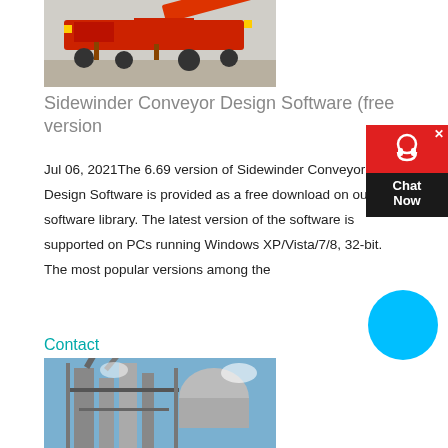[Figure (photo): Red industrial conveyor/crusher machine on a gravel site outdoors]
Sidewinder Conveyor Design Software (free version
Jul 06, 2021The 6.69 version of Sidewinder Conveyor Design Software is provided as a free download on our software library. The latest version of the software is supported on PCs running Windows XP/Vista/7/8, 32-bit. The most popular versions among the
Contact
[Figure (photo): Industrial factory/plant with metal scaffolding and conveyor structures against blue sky]